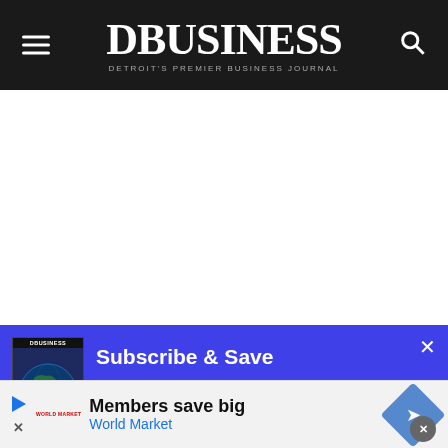DBUSINESS — Detroit's Premier Business Journal
[Figure (screenshot): DBusiness subscribe and save banner with magazine cover showing globe, on blue background. Text: Subscribe & Save. Get DBusiness at an exclusive 28% off and receive timely business intelligence and insights.]
Get DBusiness at an exclusive 28% off and receive timely business intelligence and insights
[Figure (infographic): World Market advertisement banner: Members save big, World Market, with blue diamond navigation icon.]